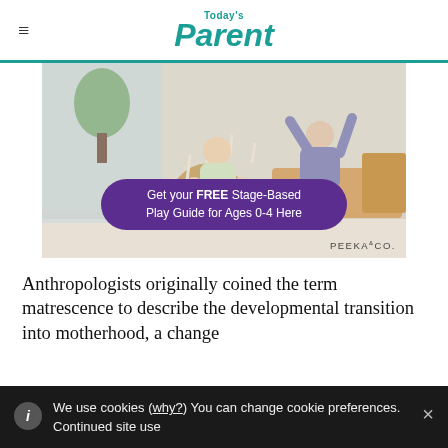Today's Parent
[Figure (photo): Advertisement image showing two children playing on wooden Pikler-style climbing equipment. Text overlay reads: 'Get your FREE Stage-Based Play Guide for Ages 0-4 Here'. Logo: PEEKA & CO.]
Anthropologists originally coined the term matrescence to describe the developmental transition into motherhood, a change
We use cookies (why?) You can change cookie preferences. Continued site use